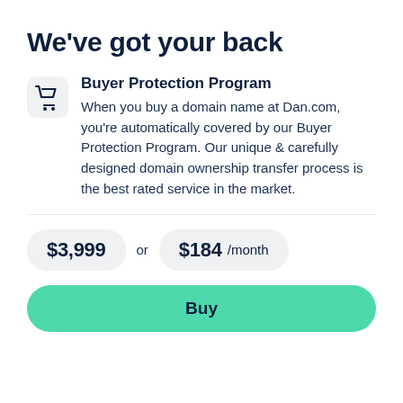We've got your back
Buyer Protection Program
When you buy a domain name at Dan.com, you're automatically covered by our Buyer Protection Program. Our unique & carefully designed domain ownership transfer process is the best rated service in the market.
$3,999 or $184 /month
Buy